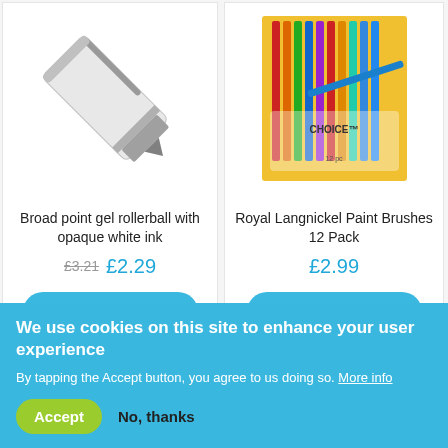[Figure (photo): White gel rollerball pen on white background]
Broad point gel rollerball with opaque white ink
£3.21  £2.29
Add to Basket
[Figure (photo): Royal Langnickel paint brushes 12 pack with colorful packaging]
Royal Langnickel Paint Brushes 12 Pack
£2.99
Add to Basket
[Figure (photo): Partial view of pencil eraser product packaging]
[Figure (photo): Partial view of Artstar blue box product]
We use cookies on this site to enhance your user experience
By tapping the Accept button, you agree to us doing so. More info
Accept
No, thanks